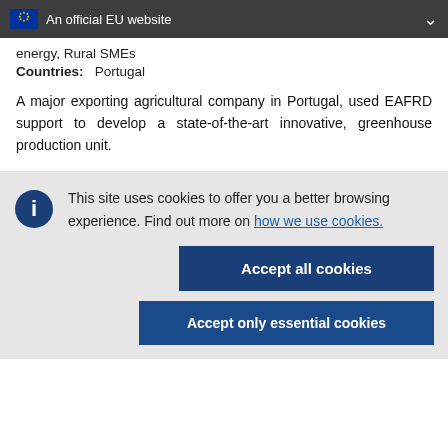An official EU website
energy, Rural SMEs
Countries:   Portugal
A major exporting agricultural company in Portugal, used EAFRD support to develop a state-of-the-art innovative, greenhouse production unit.
This site uses cookies to offer you a better browsing experience. Find out more on how we use cookies.
Accept all cookies
Accept only essential cookies